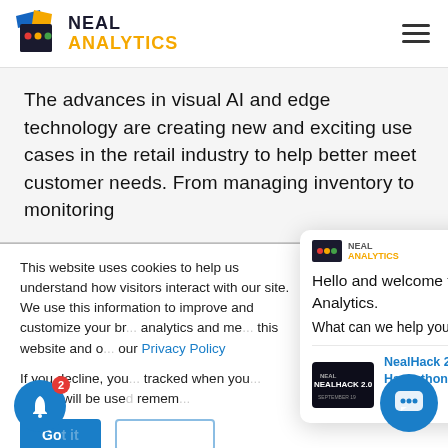[Figure (logo): Neal Analytics logo with colored icon and text]
The advances in visual AI and edge technology are creating new and exciting use cases in the retail industry to help better meet customer needs. From managing inventory to monitoring
This website uses cookies to help us understand how visitors interact with our site. We use this information to improve and customize your browsing experience and for analytics and metrics about our visitors on this website and other media. To find out more, see our Privacy Policy
If you decline, your information won't be tracked when you visit this website. A single cookie will be used in your browser to remember...
[Figure (screenshot): Chat popup with Neal Analytics logo showing 'Hello and welcome to Neal Analytics. What can we help you with?' and NealHack 2.0 notification below]